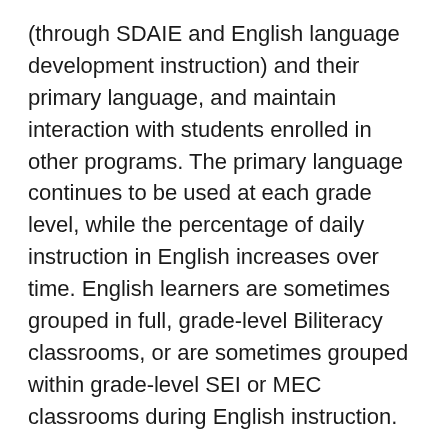(through SDAIE and English language development instruction) and their primary language, and maintain interaction with students enrolled in other programs. The primary language continues to be used at each grade level, while the percentage of daily instruction in English increases over time. English learners are sometimes grouped in full, grade-level Biliteracy classrooms, or are sometimes grouped within grade-level SEI or MEC classrooms during English instruction.
In order for students to participate in this program, each year parents/guardians must come to school to be provided with full descriptions of all educational opportunities available to them. If they wish to keep their child in the Biliteracy program,